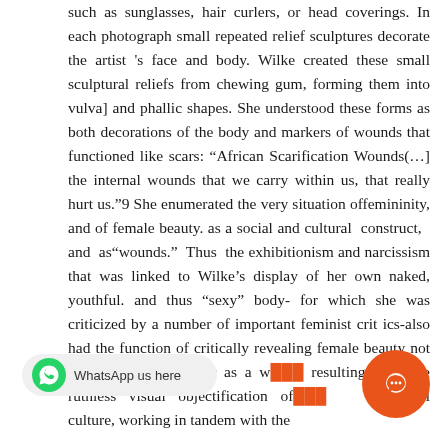such as sunglasses, hair curlers, or head coverings. In each photograph small repeated relief sculptures decorate the artist 's face and body. Wilke created these small sculptural reliefs from chewing gum, forming them into vulva] and phallic shapes. She understood these forms as both decorations of the body and markers of wounds that functioned like scars: “African Scarification Wounds(…] the internal wounds that we carry within us, that really hurt us.”9 She enumerated the very situation offemininity, and of female beauty. as a social and cultural construct, and as“wounds.” Thus the exhibitionism and narcissism that was linked to Wilke’s display of her own naked, youthful. and thus “sexy” body- for which she was criticized by a number of important feminist crit ics-also had the function of critically revealing female beauty not as an asset, but rather as a wound resulting from the ruthless visual objectification of visual culture, working in tandem with the